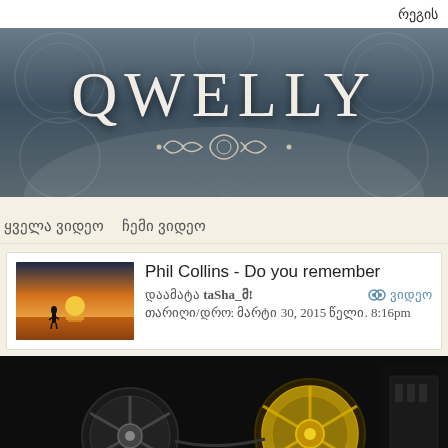რეგის
[Figure (illustration): QWELLY website banner with ornate decorative background and logo text]
ყველა ვიდეო   ჩემი ვიდეო
Phil Collins - Do you remember
დაამატა taSha_მ!
თარიღი/დრო: მარტი 30, 2015 წელი. 8:16pm
ვიდეო
[Figure (photo): Reel-to-reel tape recorder/player with large tape reels, dark background]
საუბრის დაწყება!